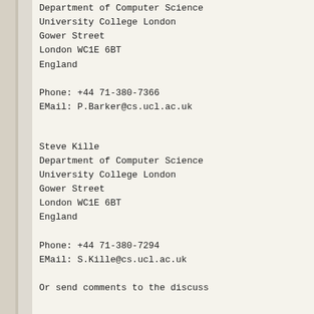Department of Computer Science
University College London
Gower Street
London WC1E 6BT
England

Phone: +44 71-380-7366
EMail: P.Barker@cs.ucl.ac.uk
Steve Kille
Department of Computer Science
University College London
Gower Street
London WC1E 6BT
England

Phone: +44 71-380-7294
EMail: S.Kille@cs.ucl.ac.uk
Or send comments to the discuss